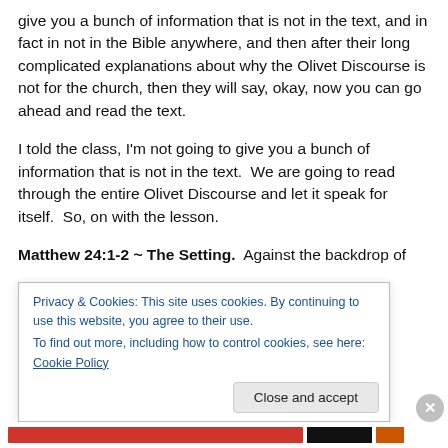give you a bunch of information that is not in the text, and in fact in not in the Bible anywhere, and then after their long complicated explanations about why the Olivet Discourse is not for the church, then they will say, okay, now you can go ahead and read the text.
I told the class, I'm not going to give you a bunch of information that is not in the text.  We are going to read through the entire Olivet Discourse and let it speak for itself.  So, on with the lesson.
Matthew 24:1-2 ~ The Setting.  Against the backdrop of
Privacy & Cookies: This site uses cookies. By continuing to use this website, you agree to their use.
To find out more, including how to control cookies, see here: Cookie Policy